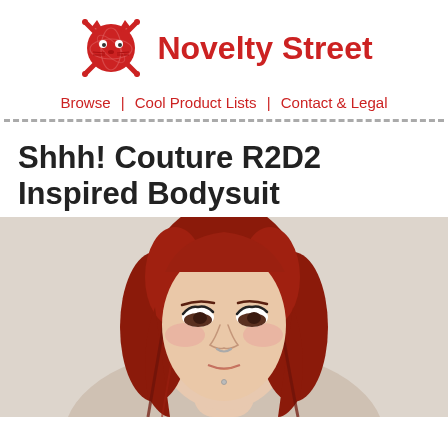Novelty Street
Browse | Cool Product Lists | Contact & Legal
Shhh! Couture R2D2 Inspired Bodysuit
[Figure (photo): Close-up portrait of a young woman with long red hair and facial piercings, looking slightly upward, against a light background.]